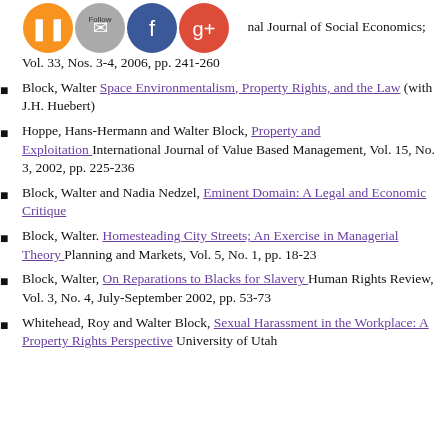Block, Walter [partial, continuing from previous page] International Journal of Social Economics; Vol. 33, Nos. 3-4, 2006, pp. 241-260
Block, Walter Space Environmentalism, Property Rights, and the Law (with J.H. Huebert)
Hoppe, Hans-Hermann and Walter Block, Property and Exploitation International Journal of Value Based Management, Vol. 15, No. 3, 2002, pp. 225-236
Block, Walter and Nadia Nedzel, Eminent Domain: A Legal and Economic Critique
Block, Walter. Homesteading City Streets; An Exercise in Managerial Theory Planning and Markets, Vol. 5, No. 1, pp. 18-23
Block, Walter, On Reparations to Blacks for Slavery Human Rights Review, Vol. 3, No. 4, July-September 2002, pp. 53-73
Whitehead, Roy and Walter Block, Sexual Harassment in the Workplace: A Property Rights Perspective University of Utah